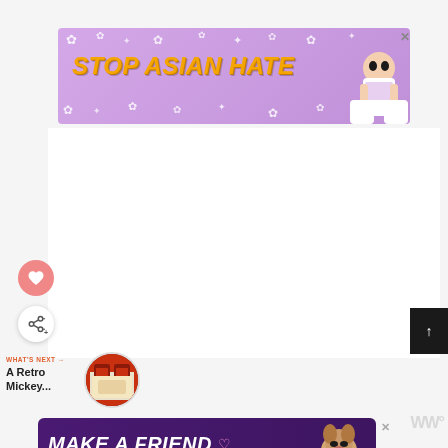[Figure (infographic): Stop Asian Hate advertisement banner with purple background, white flowers, orange-yellow bold text reading STOP ASIAN HATE, and anime-style character on the right. Close button (X) in top right corner.]
[Figure (infographic): Heart (like/favorite) button - pink circular button with white heart icon]
[Figure (infographic): Share button - white circular button with share icon]
WHAT'S NEXT → A Retro Mickey...
[Figure (infographic): Make A Friend advertisement banner with dark purple background, white bold text MAKE A FRIEND, heart decorations, and a dog image. Close button (X) on right.]